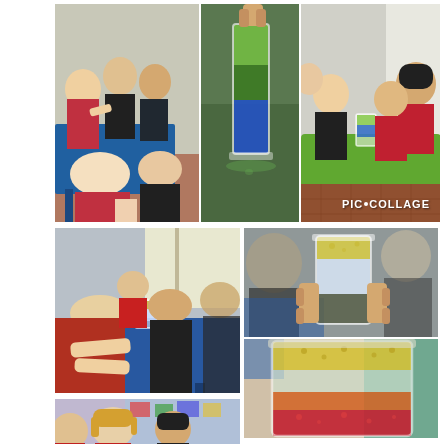[Figure (photo): A collage of three photos showing school children conducting a liquid density science experiment outdoors. Left panel: students gathered around a blue table looking at a jar with yellow liquid. Center panel: close-up of a tall glass with layered green and blue liquids. Right panel: more students gathered around a green table looking at a small glass with layered liquid. PIC COLLAGE watermark in bottom right.]
[Figure (photo): Students leaning over a blue table closely looking at a small glass/jar with liquid, taken indoors.]
[Figure (photo): Child's hands holding up a large glass jar with clearly visible liquid layers - yellow on top, clear in middle, darker at bottom.]
[Figure (photo): A large jar with colorful layered liquids - clear/yellow on top, orange/red granular material at bottom, showing a density experiment result.]
[Figure (photo): Partial view of students in a classroom setting, a girl visible in foreground.]